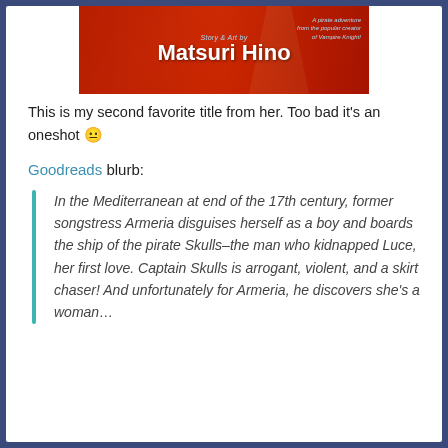[Figure (illustration): Book cover of a manga by Matsuri Hino, showing red background with anime-style figure. Text reads 'Story & Art by Matsuri Hino' and 'A pirate adventure from the popular creator of Vampire Knight!']
This is my second favorite title from her. Too bad it's an oneshot 😐
Goodreads blurb:
In the Mediterranean at end of the 17th century, former songstress Armeria disguises herself as a boy and boards the ship of the pirate Skulls–the man who kidnapped Luce, her first love. Captain Skulls is arrogant, violent, and a skirt chaser! And unfortunately for Armeria, he discovers she's a woman…